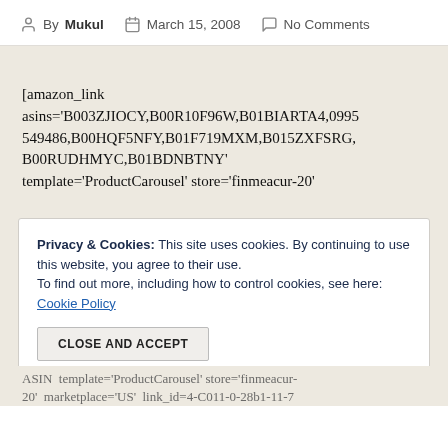By Mukul   March 15, 2008   No Comments
[amazon_link asins='B003ZJIOCY,B00R10F96W,B01BIARTA4,0995549486,B00HQF5NFY,B01F719MXM,B015ZXFSRG,B00RUDHMYC,B01BDNBTNY' template='ProductCarousel' store='finmeacur-20'
Privacy & Cookies: This site uses cookies. By continuing to use this website, you agree to their use.
To find out more, including how to control cookies, see here: Cookie Policy
CLOSE AND ACCEPT
ASIN template='ProductCarousel' store='finmeacur-20' marketplace='US' link_id=4-C011-0-28b1-11-7